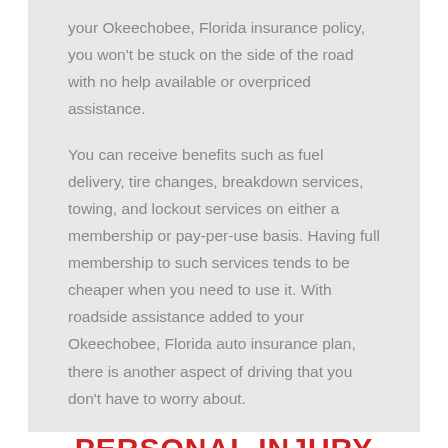your Okeechobee, Florida insurance policy, you won't be stuck on the side of the road with no help available or overpriced assistance.
You can receive benefits such as fuel delivery, tire changes, breakdown services, towing, and lockout services on either a membership or pay-per-use basis. Having full membership to such services tends to be cheaper when you need to use it. With roadside assistance added to your Okeechobee, Florida auto insurance plan, there is another aspect of driving that you don't have to worry about.
PERSONAL INJURY